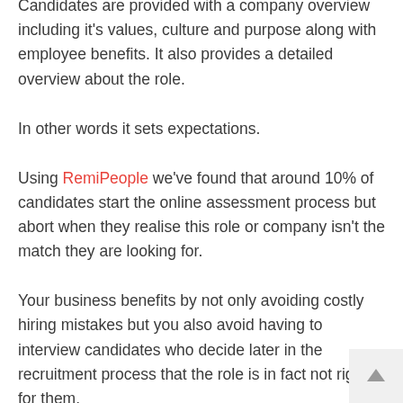the right role and company for them.
Candidates are provided with a company overview including it's values, culture and purpose along with employee benefits. It also provides a detailed overview about the role.
In other words it sets expectations.
Using RemiPeople we've found that around 10% of candidates start the online assessment process but abort when they realise this role or company isn't the match they are looking for.
Your business benefits by not only avoiding costly hiring mistakes but you also avoid having to interview candidates who decide later in the recruitment process that the role is in fact not right for them.